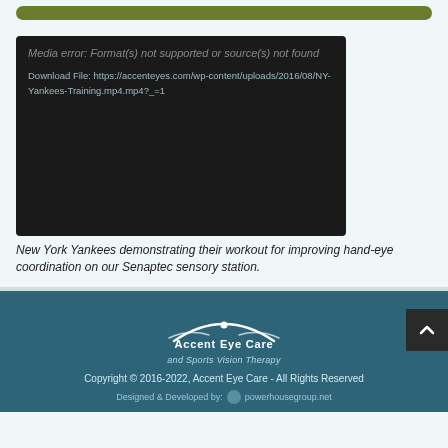[Figure (screenshot): Green rounded bar at top of content card]
[Figure (screenshot): Video player showing error: Media error: Format(s) not supported or source(s) not found. Download File: https://accenteyes.com/wp-content/uploads/2016/08/NY-Yankees-Training.mp4.mp4?_=1]
New York Yankees demonstrating their workout for improving hand-eye coordination on our Senaptec sensory station.
[Figure (logo): Accent Eye Care and Sports Vision Therapy logo in white on teal footer]
Copyright © 2016-2022, Accent Eye Care - All Rights Reserved
Designed & Developed by: powerhousegroup.net